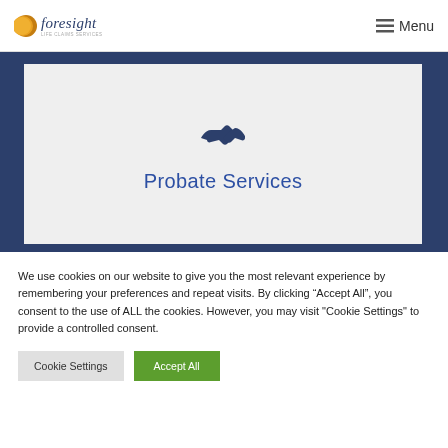foresight | Menu
[Figure (illustration): Foresight logo with orange circle and italic text 'foresight' in navy blue]
Probate Services
[Figure (illustration): Handshake icon in dark navy blue color]
We use cookies on our website to give you the most relevant experience by remembering your preferences and repeat visits. By clicking “Accept All”, you consent to the use of ALL the cookies. However, you may visit "Cookie Settings" to provide a controlled consent.
Cookie Settings | Accept All